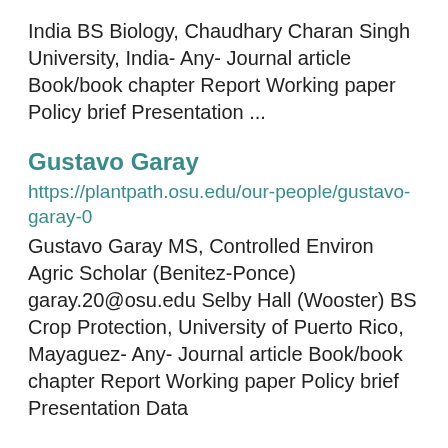India BS Biology, Chaudhary Charan Singh University, India- Any- Journal article Book/book chapter Report Working paper Policy brief Presentation ...
Gustavo Garay
https://plantpath.osu.edu/our-people/gustavo-garay-0
Gustavo Garay MS, Controlled Environ Agric Scholar (Benitez-Ponce) garay.20@osu.edu Selby Hall (Wooster) BS Crop Protection, University of Puerto Rico, Mayaguez- Any- Journal article Book/book chapter Report Working paper Policy brief Presentation Data